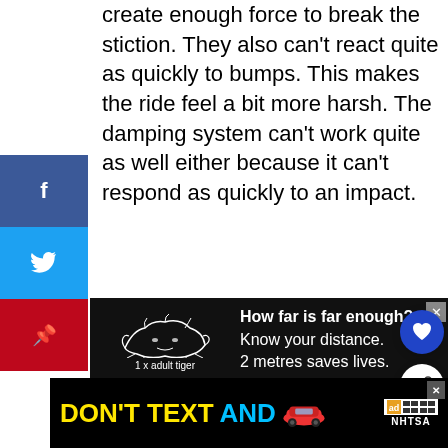create enough force to break the stiction. They also can't react quite as quickly to bumps. This makes the ride feel a bit more harsh. The damping system can't work quite as well either because it can't respond as quickly to an impact.
[Figure (infographic): Advertisement banner with black background showing tiger silhouette and text: 'How far is far enough? Know your distance. 2 metres saves lives. 1 x adult tiger']
[Figure (infographic): Advertisement banner with black background showing 'DON'T TEXT AND' with a red car emoji, ad logo, and NHTSA branding]